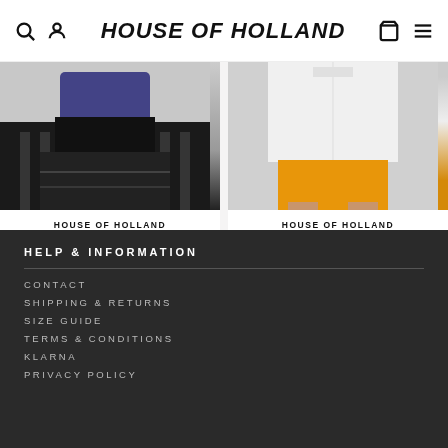HOUSE OF HOLLAND
[Figure (photo): House of Holland Purple and White Tie Dye Zebra Print Hoodie product photo]
HOUSE OF HOLLAND PURPLE AND WHITE TIE DYE ZEBRA PRINT HOODIE £160.00 £80.00
[Figure (photo): House of Holland Monogram Print White Shirt product photo]
HOUSE OF HOLLAND MONOGRAM PRINT WHITE SHIRT £185.00 £75.00
HELP & INFORMATION
CONTACT
SHIPPING & RETURNS
SIZE GUIDE
TERMS & CONDITIONS
KLARNA
PRIVACY POLICY